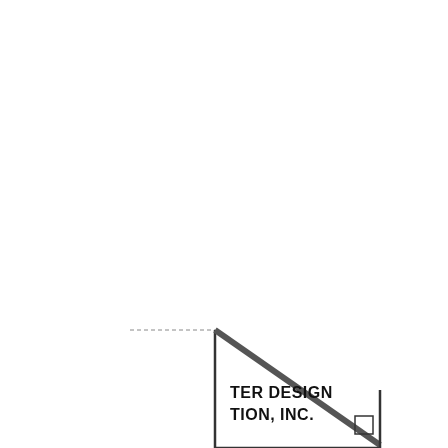[Figure (engineering-diagram): Partial engineering title block / drawing border element showing a diagonal line forming a triangle/rafter shape with a small square detail at the bottom right. Text partially visible reads 'TER DESIGN' and 'TION, INC.' indicating a company name (e.g. 'MASTER DESIGN CORPORATION, INC.'). A horizontal dashed line extends to the left from the upper portion of the element.]